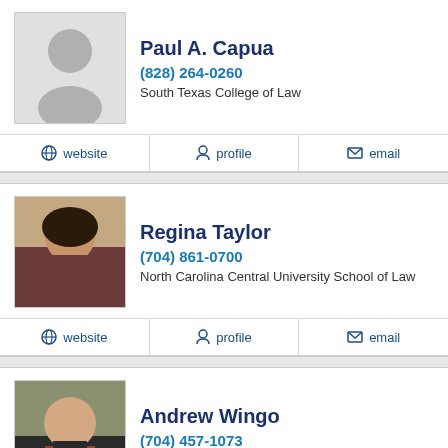Paul A. Capua
(828) 264-0260
South Texas College of Law
website | profile | email
Regina Taylor
(704) 861-0700
North Carolina Central University School of Law
website | profile | email
Andrew Wingo
(704) 457-1073
Campbell Law School